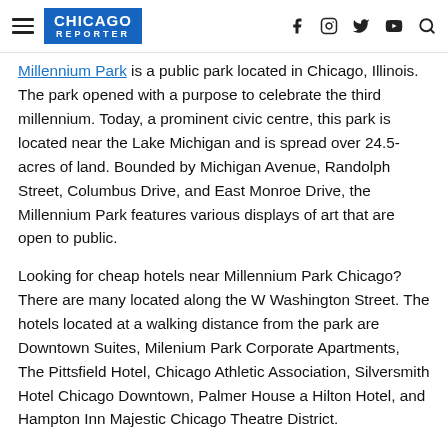Chicago Reporter
Millennium Park is a public park located in Chicago, Illinois. The park opened with a purpose to celebrate the third millennium. Today, a prominent civic centre, this park is located near the Lake Michigan and is spread over 24.5-acres of land. Bounded by Michigan Avenue, Randolph Street, Columbus Drive, and East Monroe Drive, the Millennium Park features various displays of art that are open to public.
Looking for cheap hotels near Millennium Park Chicago? There are many located along the W Washington Street. The hotels located at a walking distance from the park are Downtown Suites, Milenium Park Corporate Apartments, The Pittsfield Hotel, Chicago Athletic Association, Silversmith Hotel Chicago Downtown, Palmer House a Hilton Hotel, and Hampton Inn Majestic Chicago Theatre District.
As you move west towards the West Loop neighbourhood, you will have many more hotels to choose from. All these